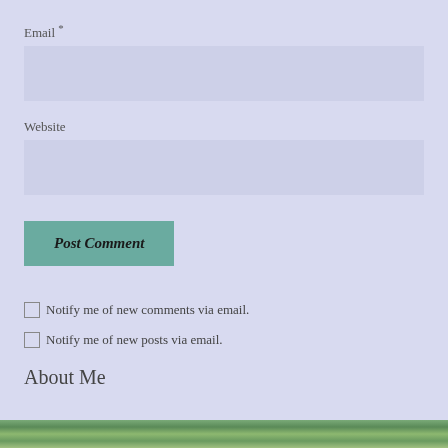Email *
[Figure (other): Email input field (empty, light blue-gray background)]
Website
[Figure (other): Website input field (empty, light blue-gray background)]
Post Comment
Notify me of new comments via email.
Notify me of new posts via email.
About Me
[Figure (photo): Partial photo visible at the bottom of the page, appears to show trees or foliage]